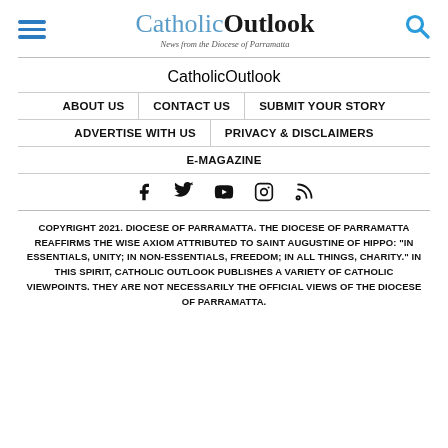CatholicOutlook — News from the Diocese of Parramatta
[Figure (logo): CatholicOutlook logo — 'Catholic' in blue serif and 'Outlook' in bold black serif, with tagline 'News from the Diocese of Parramatta']
ABOUT US
CONTACT US
SUBMIT YOUR STORY
ADVERTISE WITH US
PRIVACY & DISCLAIMERS
E-MAGAZINE
[Figure (illustration): Social media icons row: Facebook, Twitter, YouTube, Instagram, RSS]
COPYRIGHT 2021. DIOCESE OF PARRAMATTA. THE DIOCESE OF PARRAMATTA REAFFIRMS THE WISE AXIOM ATTRIBUTED TO SAINT AUGUSTINE OF HIPPO: "IN ESSENTIALS, UNITY; IN NON-ESSENTIALS, FREEDOM; IN ALL THINGS, CHARITY." IN THIS SPIRIT, CATHOLIC OUTLOOK PUBLISHES A VARIETY OF CATHOLIC VIEWPOINTS. THEY ARE NOT NECESSARILY THE OFFICIAL VIEWS OF THE DIOCESE OF PARRAMATTA.